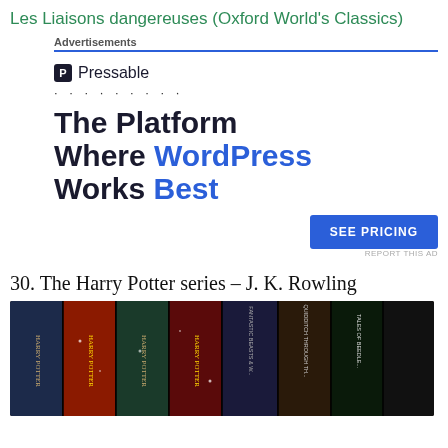Les Liaisons dangereuses (Oxford World's Classics)
Advertisements
[Figure (screenshot): Pressable advertisement banner: logo with 'P' icon and 'Pressable' name, dotted loading line, large headline 'The Platform Where WordPress Works Best', blue 'SEE PRICING' button, and 'REPORT THIS AD' link.]
30. The Harry Potter series – J. K. Rowling
[Figure (photo): Photo of Harry Potter book series spines arranged side by side, showing colorful book covers with titles visible.]